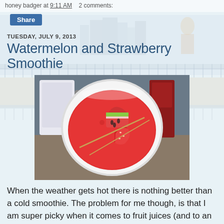honey badger at 9:11 AM   2 comments:
Share
TUESDAY, JULY 9, 2013
Watermelon and Strawberry Smoothie
[Figure (photo): A white bowl/cup containing red smoothie with a watermelon slice and strawberry garnished on a toothpick, placed on a granite counter with blender in background]
When the weather gets hot there is nothing better than a cold smoothie. The problem for me though, is that I am super picky when it comes to fruit juices (and to an extent, fruit). I do not like orange or apple juice, which are the two most